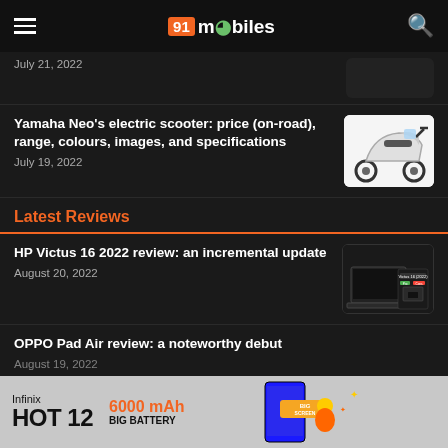91mobiles
July 21, 2022
Yamaha Neo's electric scooter: price (on-road), range, colours, images, and specifications
July 19, 2022
Latest Reviews
HP Victus 16 2022 review: an incremental update
August 20, 2022
OPPO Pad Air review: a noteworthy debut
August 19, 2022
[Figure (screenshot): HP Victus 16 2022 review thumbnail showing laptop specs comparison]
[Figure (photo): Yamaha Neo electric scooter white side view]
[Figure (photo): Infinix HOT 12 advertisement - 6000 mAh Big Battery, BIG SCREEN]